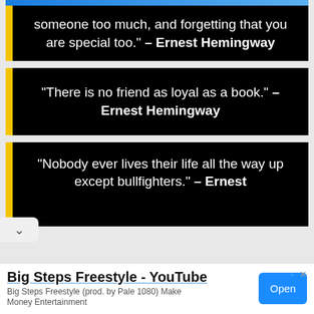[Figure (screenshot): Screenshot of a webpage showing Ernest Hemingway quotes as dark cards with yellow left border, plus an advertisement at the bottom for 'Big Steps Freestyle - YouTube']
someone too much, and forgetting that you are special too." – Ernest Hemingway
“There is no friend as loyal as a book.” – Ernest Hemingway
“Nobody ever lives their life all the way up except bullfighters.” – Ernest
Big Steps Freestyle - YouTube
Big Steps Freestyle (prod. by Pale 1080) Make Money Entertainment